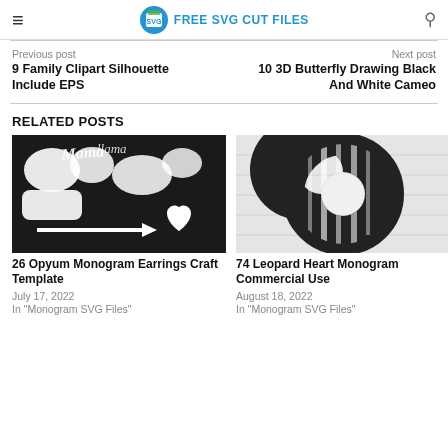FREE SVG CUT FILES
Previous post
9 Family Clipart Silhouette Include EPS
Next post
10 3D Butterfly Drawing Black And White Cameo
RELATED POSTS
[Figure (photo): Black and white SVG craft design with cursive text, arrows, and heart shapes - thumbnail for Opyum Monogram Earrings Craft Template]
26 Opyum Monogram Earrings Craft Template
July 17, 2022
In "Monogram SVG Files"
[Figure (photo): Zebra stripe pattern forming the letter O on a white wood background - thumbnail for Leopard Heart Monogram Commercial Use]
74 Leopard Heart Monogram Commercial Use
August 18, 2022
In "Monogram SVG Files"